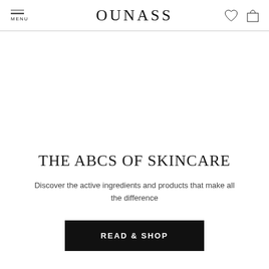MENU | OUNASS | [heart icon] [bag icon]
THE ABCS OF SKINCARE
Discover the active ingredients and products that make all the difference
READ & SHOP